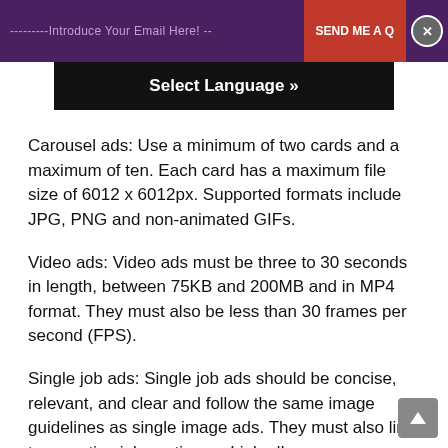---------Introduce Your Email Here! -- SEND ME A Q [x]
[Figure (screenshot): Select Language » dropdown overlay bar in black]
Carousel ads: Use a minimum of two cards and a maximum of ten. Each card has a maximum file size of 6012 x 6012px. Supported formats include JPG, PNG and non-animated GIFs.
Video ads: Video ads must be three to 30 seconds in length, between 75KB and 200MB and in MP4 format. They must also be less than 30 frames per second (FPS).
Single job ads: Single job ads should be concise, relevant, and clear and follow the same image guidelines as single image ads. They must also link to an active job posting on LinkedIn.
Failure to follow these guidelines may result in ads being rejected. If ads contain misleading or inappropriate content,